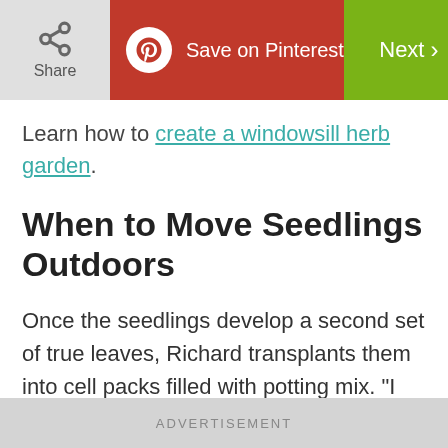Share | Save on Pinterest | Next
Learn how to create a windowsill herb garden.
When to Move Seedlings Outdoors
Once the seedlings develop a second set of true leaves, Richard transplants them into cell packs filled with potting mix. "I just use a knife and dig them up really carefully by hand," he says.
When it's time to take plants outside (see
ADVERTISEMENT